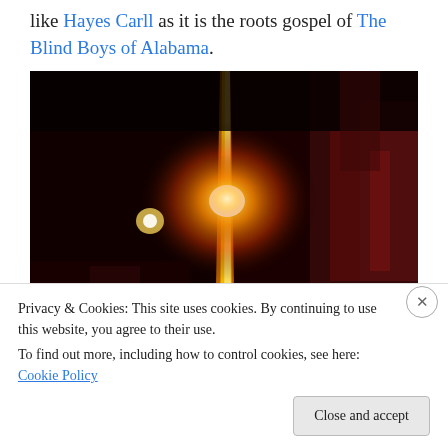like Hayes Carll as it is the roots gospel of The Blind Boys of Alabama.
[Figure (photo): Concert photograph showing a bright orange-yellow starburst stage light against a dark background with red lighting, silhouettes of audience members visible at the bottom left.]
Privacy & Cookies: This site uses cookies. By continuing to use this website, you agree to their use.
To find out more, including how to control cookies, see here: Cookie Policy
Close and accept